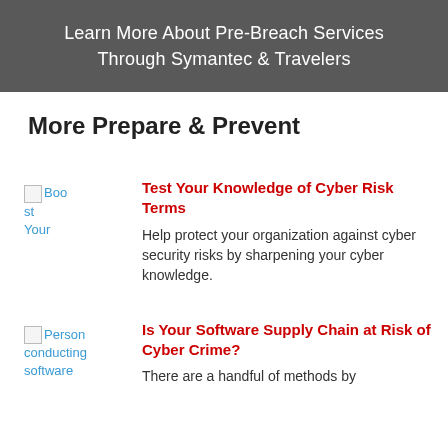Learn More About Pre-Breach Services Through Symantec & Travelers
More Prepare & Prevent
[Figure (illustration): Broken image placeholder with alt text 'Boost Your']
Test Your Knowledge of Cyber Risk Terms
Help protect your organization against cyber security risks by sharpening your cyber knowledge.
[Figure (illustration): Broken image placeholder with alt text 'Person conducting software']
Is Your Software Supply Chain at Risk of Cyber Crime?
There are a handful of methods by